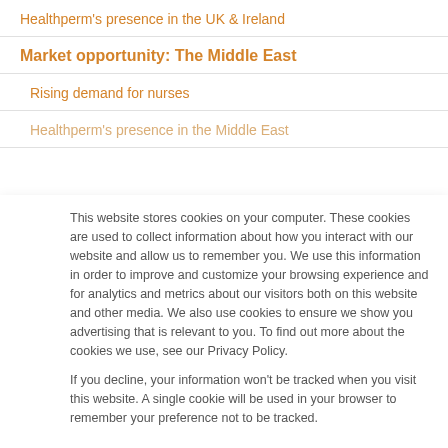Healthperm's presence in the UK & Ireland
Market opportunity: The Middle East
Rising demand for nurses
Healthperm's presence in the Middle East
This website stores cookies on your computer. These cookies are used to collect information about how you interact with our website and allow us to remember you. We use this information in order to improve and customize your browsing experience and for analytics and metrics about our visitors both on this website and other media. We also use cookies to ensure we show you advertising that is relevant to you. To find out more about the cookies we use, see our Privacy Policy.
If you decline, your information won't be tracked when you visit this website. A single cookie will be used in your browser to remember your preference not to be tracked.